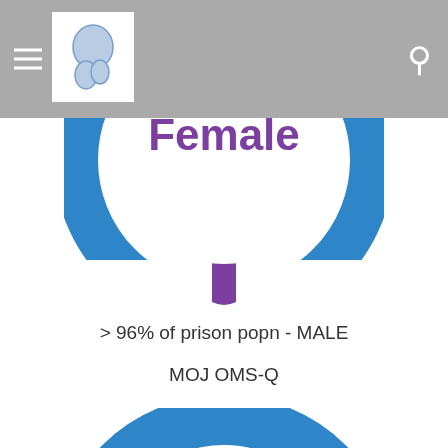[Figure (donut-chart): Partial donut chart (top half visible) with blue ring and small purple segment. Title reads 'Female' in purple bold text. Chart represents prison inmate population split.]
> 96% of prison popn - MALE
MOJ OMS-Q
[Figure (donut-chart): Partial donut chart (bottom cropped) with blue ring. Center shows '99%' in large blue text and 'Sexual Offenders' text. 'MALE' partially visible at bottom.]